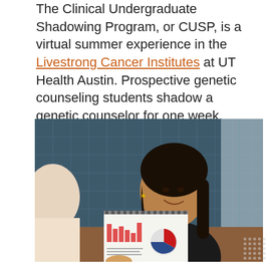The Clinical Undergraduate Shadowing Program, or CUSP, is a virtual summer experience in the Livestrong Cancer Institutes at UT Health Austin. Prospective genetic counseling students shadow a genetic counselor for one week, observing telehealth visits, clinical huddles and tumor boards.
[Figure (photo): A smiling young woman with dark hair in a black top sitting at a table, appearing to have a conversation. In the foreground, a spiral-bound booklet with a pie chart and bar chart is visible. The background shows a blue tile wall.]